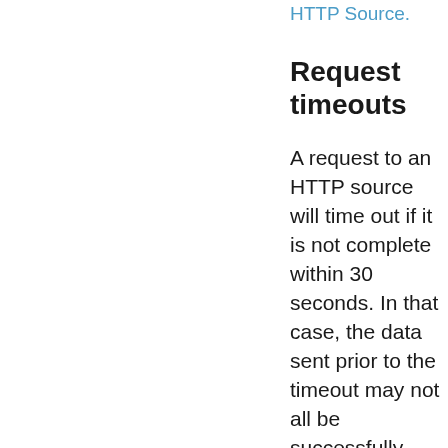HTTP Source.
Request timeouts
A request to an HTTP source will time out if it is not complete within 30 seconds. In that case, the data sent prior to the timeout may not all be successfully ingested. Although no hard